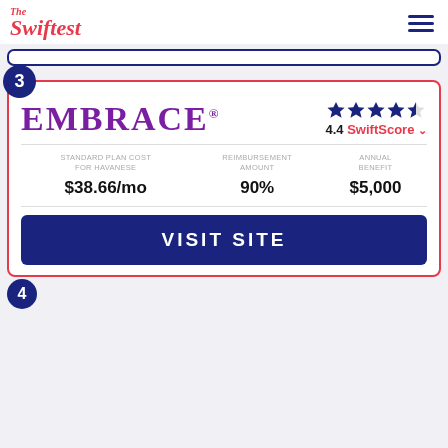The Swiftest
[Figure (logo): The Swiftest logo in red italic script]
EMBRACE® — 4.4 SwiftScore
| STANDARD PLAN COST FOR HAVANESE | REIMBURSEMENT AMOUNT | ANNUAL BENEFIT |
| --- | --- | --- |
| $38.66/mo | 90% | $5,000 |
VISIT SITE